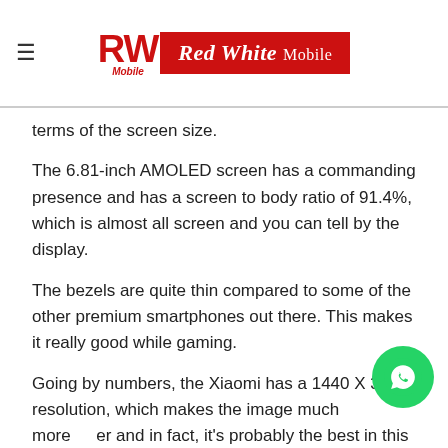RW Mobile | Red White Mobile
terms of the screen size.
The 6.81-inch AMOLED screen has a commanding presence and has a screen to body ratio of 91.4%, which is almost all screen and you can tell by the display.
The bezels are quite thin compared to some of the other premium smartphones out there. This makes it really good while gaming.
Going by numbers, the Xiaomi has a 1440 X 32... resolution, which makes the image much more... and in fact, it's probably the best in this segment. It boats Samsung in this department, hands down.